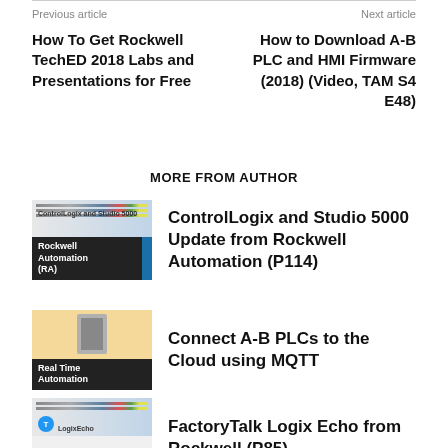Previous article
Next article
How To Get Rockwell TechED 2018 Labs and Presentations for Free
How to Download A-B PLC and HMI Firmware (2018) (Video, TAM S4 E48)
MORE FROM AUTHOR
[Figure (photo): Thumbnail for ControlLogix and Studio 5000 video with Rockwell Automation (RA) label]
ControlLogix and Studio 5000 Update from Rockwell Automation (P114)
[Figure (photo): Thumbnail for Connect A-B PLCs video with Real Time Automation label]
Connect A-B PLCs to the Cloud using MQTT
[Figure (photo): Thumbnail for FactoryTalk Logix Echo video with LogixEcho logo]
FactoryTalk Logix Echo from Rockwell (P85)